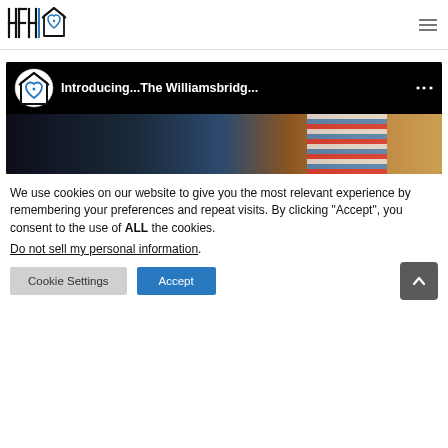[Figure (logo): HFH logo with stylized letters H, F, H and a house/heart icon in blue and black]
[Figure (screenshot): YouTube-style video thumbnail showing 'Introducing...The Williamsbridg...' with HFH logo icon, three-dot menu, and a child in a striped shirt visible in the background]
We use cookies on our website to give you the most relevant experience by remembering your preferences and repeat visits. By clicking “Accept”, you consent to the use of ALL the cookies.
Do not sell my personal information.